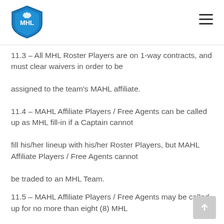MHL logo and navigation menu
11.3 – All MHL Roster Players are on 1-way contracts, and must clear waivers in order to be assigned to the team's MAHL affiliate.
11.4 – MAHL Affiliate Players / Free Agents can be called up as MHL fill-in if a Captain cannot fill his/her lineup with his/her Roster Players, but MAHL Affiliate Players / Free Agents cannot be traded to an MHL Team.
11.5 – MAHL Affiliate Players / Free Agents may be called up for no more than eight (8) MHL games. In the event an MAHL Player is called up for a ninth